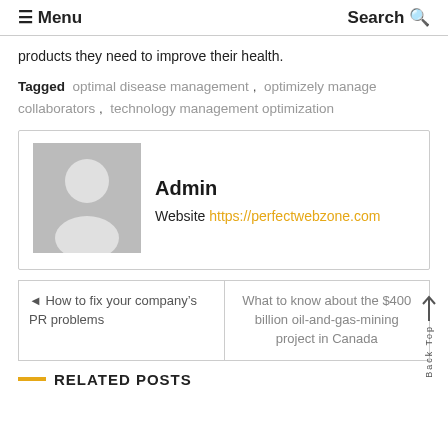≡ Menu   Search 🔍
products they need to improve their health.
Tagged  optimal disease management ,  optimizely manage collaborators ,  technology management optimization
Admin
Website https://perfectwebzone.com
◄ How to fix your company's PR problems
What to know about the $400 billion oil-and-gas-mining project in Canada
RELATED POSTS